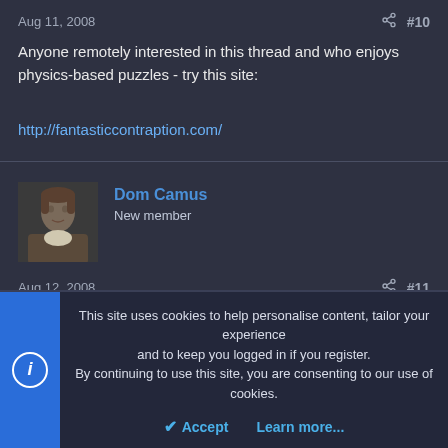Aug 11, 2008  #10
Anyone remotely interested in this thread and who enjoys physics-based puzzles - try this site:

http://fantasticcontraption.com/
[Figure (photo): Avatar portrait photo of a person in historical/classical style painting]
Dom Camus
New member
Aug 12, 2008  #11
This site uses cookies to help personalise content, tailor your experience and to keep you logged in if you register.
By continuing to use this site, you are consenting to our use of cookies.
Accept   Learn more...